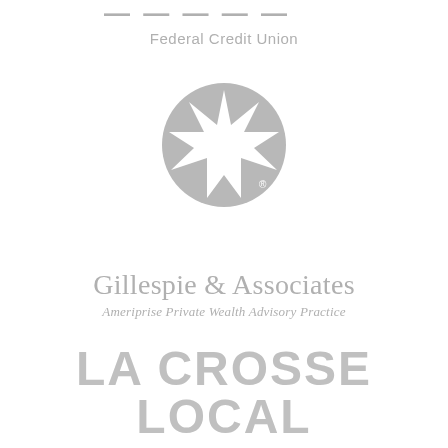[Figure (logo): Partially visible logo text at top, with 'Federal Credit Union' text below]
[Figure (logo): Ameriprise star/compass rose logo — circular grey badge with white 8-pointed star shape]
[Figure (logo): Gillespie & Associates – Ameriprise Private Wealth Advisory Practice logo text]
[Figure (logo): La Crosse Local Arts & Food by river travel logo]